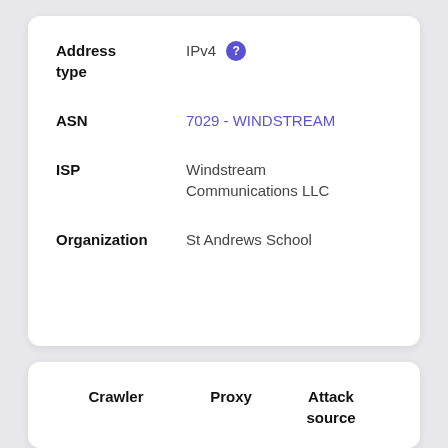Address type: IPv4
ASN: 7029 - WINDSTREAM
ISP: Windstream Communications LLC
Organization: St Andrews School
Crawler   Proxy   Attack source